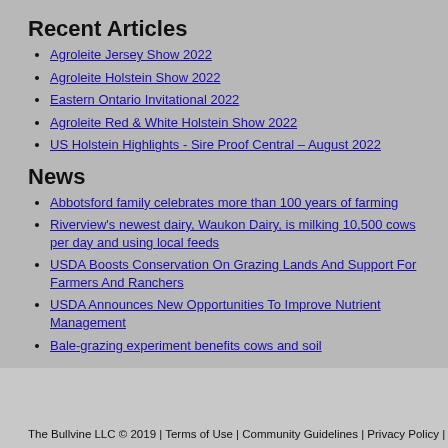Recent Articles
Agroleite Jersey Show 2022
Agroleite Holstein Show 2022
Eastern Ontario Invitational 2022
Agroleite Red & White Holstein Show 2022
US Holstein Highlights - Sire Proof Central – August 2022
News
Abbotsford family celebrates more than 100 years of farming
Riverview's newest dairy, Waukon Dairy, is milking 10,500 cows per day and using local feeds
USDA Boosts Conservation On Grazing Lands And Support For Farmers And Ranchers
USDA Announces New Opportunities To Improve Nutrient Management
Bale-grazing experiment benefits cows and soil
The Bullvine LLC © 2019 | Terms of Use | Community Guidelines | Privacy Policy |